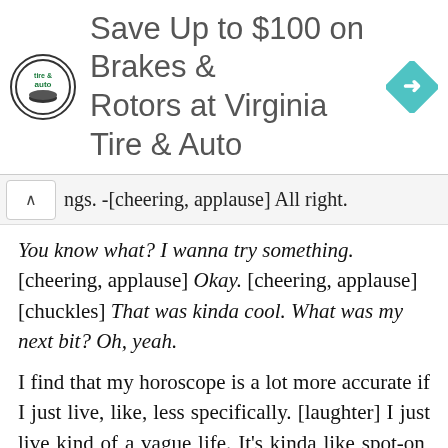[Figure (screenshot): Advertisement banner for Virginia Tire & Auto showing logo, text 'Save Up to $100 on Brakes & Rotors at Virginia Tire & Auto', and a blue navigation arrow icon]
ngs. -[cheering, applause] All right.
You know what? I wanna try something. [cheering, applause] Okay. [cheering, applause] [chuckles] That was kinda cool. What was my next bit? Oh, yeah.
I find that my horoscope is a lot more accurate if I just live, like, less specifically. [laughter] I just live kind of a vague life. It’s kinda like spot-on, you know. “What are you doing tomorrow?” “Making some choices.” [laughter] “You’re such a Gemini.” “You know it, man. The less” [chuckles]